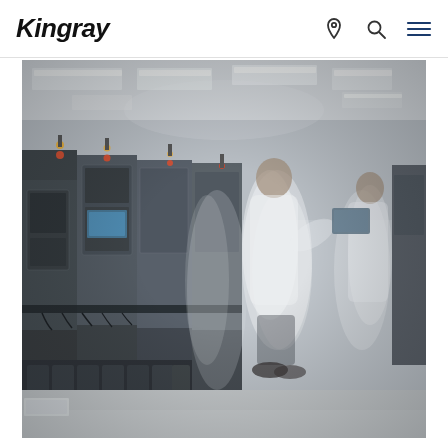Kingray
[Figure (photo): Manufacturing facility interior showing workers in white lab coats operating SMT/PCB assembly machinery. Long-exposure motion blur effect shows workers moving between large grey industrial machines. Bright fluorescent lighting from ceiling above a clean white-floored factory floor.]